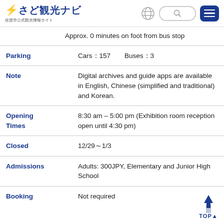さど観光ナビ 佐渡市公式観光情報サイト
Approx. 0 minutes on foot from bus stop
| Field | Value |
| --- | --- |
| Parking | Cars：157    Buses：3 |
| Note | Digital archives and guide apps are available in English, Chinese (simplified and traditional) and Korean. |
| Opening Times | 8:30 am – 5:00 pm (Exhibition room reception open until 4:30 pm) |
| Closed | 12/29～1/3 |
| Admissions | Adults: 300JPY, Elementary and Junior High School |
| Booking | Not required |